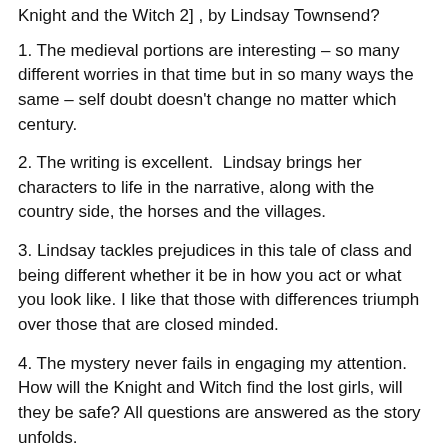Knight and the Witch 2] , by Lindsay Townsend?
1. The medieval portions are interesting – so many different worries in that time but in so many ways the same – self doubt doesn't change no matter which century.
2. The writing is excellent.  Lindsay brings her characters to life in the narrative, along with the country side, the horses and the villages.
3. Lindsay tackles prejudices in this tale of class and being different whether it be in how you act or what you look like. I like that those with differences triumph over those that are closed minded.
4. The mystery never fails in engaging my attention. How will the Knight and Witch find the lost girls, will they be safe? All questions are answered as the story unfolds.